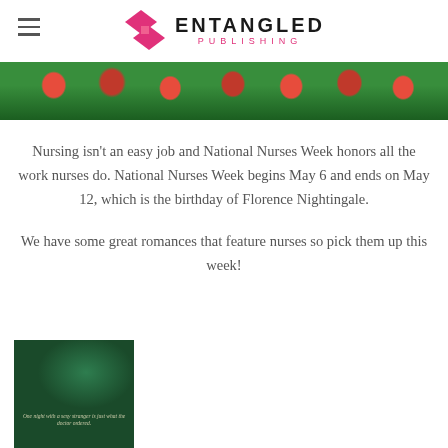ENTANGLED PUBLISHING
[Figure (photo): Banner image of red flowers/tulips with green foliage background]
Nursing isn't an easy job and National Nurses Week honors all the work nurses do. National Nurses Week begins May 6 and ends on May 12, which is the birthday of Florence Nightingale.
We have some great romances that feature nurses so pick them up this week!
[Figure (photo): Book cover showing a figure in green tones with text: One night with a sexy stranger is just what the doctor ordered.]